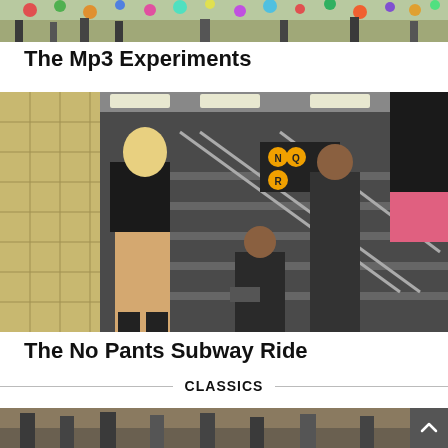[Figure (photo): Outdoor scene with crowd of people and colorful balloons in the air, partially visible at top of page]
The Mp3 Experiments
[Figure (photo): People on a subway station staircase without pants, part of the No Pants Subway Ride event. A blonde woman in a black jacket stands prominently on the left.]
The No Pants Subway Ride
CLASSICS
[Figure (photo): Partial view of another photo at bottom of page, content partially cropped]